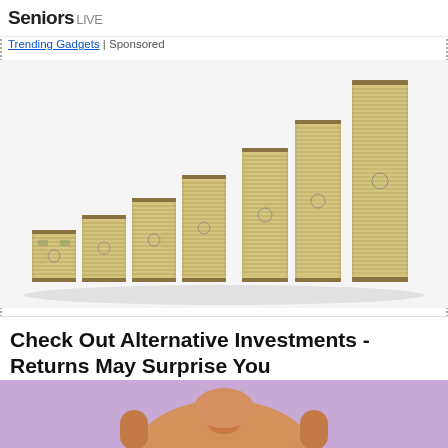Seniors | Trending Gadgets | Sponsored
[Figure (photo): Staircase arrangement of increasing stacks of US dollar bills, rising from left to right, on a white background, representing growing investments or returns.]
Check Out Alternative Investments - Returns May Surprise You
Investing | Search Ads | Sponsored
[Figure (photo): Close-up of an older man's face against a purple background, partially visible at the bottom of the page.]